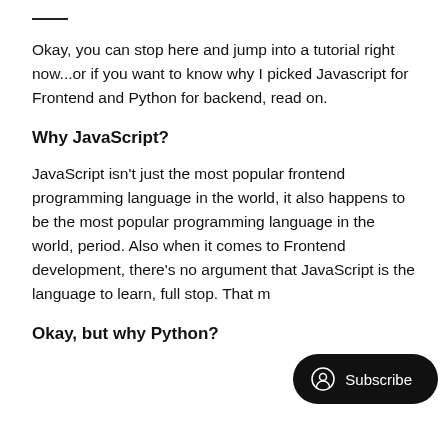—
Okay, you can stop here and jump into a tutorial right now...or if you want to know why I picked Javascript for Frontend and Python for backend, read on.
Why JavaScript?
JavaScript isn't just the most popular frontend programming language in the world, it also happens to be the most popular programming language in the world, period. Also when it comes to Frontend development, there's no argument that JavaScript is the language to learn, full stop. That means...
Okay, but why Python?